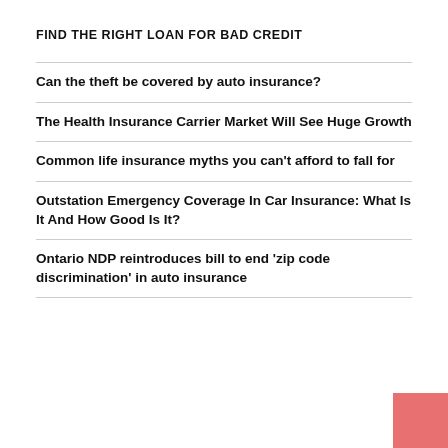FIND THE RIGHT LOAN FOR BAD CREDIT
Can the theft be covered by auto insurance?
The Health Insurance Carrier Market Will See Huge Growth
Common life insurance myths you can't afford to fall for
Outstation Emergency Coverage In Car Insurance: What Is It And How Good Is It?
Ontario NDP reintroduces bill to end 'zip code discrimination' in auto insurance